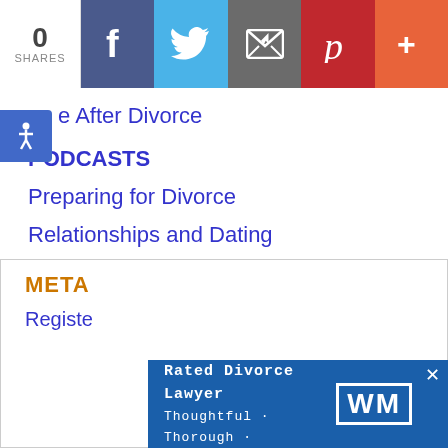[Figure (infographic): Social share bar with 0 shares count, Facebook, Twitter, Email, Pinterest, and More (+) buttons]
[Figure (infographic): Accessibility button (wheelchair icon) in blue on left side]
e After Divorce
PODCASTS
Preparing for Divorce
Relationships and Dating
Remarriage
Step-families
Video Blogs
Your Home and Divorce
META
Registe…
[Figure (infographic): Ad banner: Fairfax Top-Rated Divorce Lawyer — Thoughtful · Thorough · Trusted with WM logo and X close button]